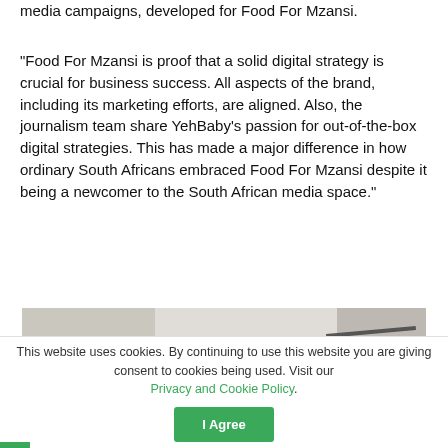media campaigns, developed for Food For Mzansi.
“Food For Mzansi is proof that a solid digital strategy is crucial for business success. All aspects of the brand, including its marketing efforts, are aligned. Also, the journalism team share YehBaby’s passion for out-of-the-box digital strategies. This has made a major difference in how ordinary South Africans embraced Food For Mzansi despite it being a newcomer to the South African media space.”
[Figure (photo): Partial photograph showing a room interior with light-colored walls and a dark angled object or bar in the upper right area.]
This website uses cookies. By continuing to use this website you are giving consent to cookies being used. Visit our Privacy and Cookie Policy. I Agree